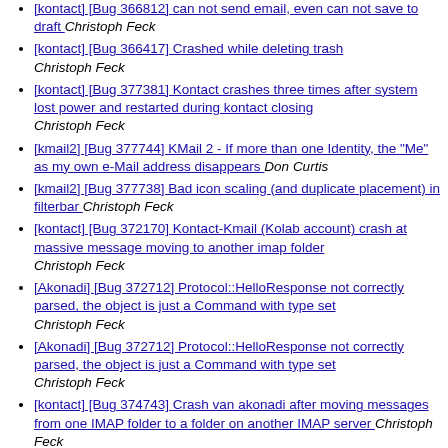[kontact] [Bug 366812] can not send email, even can not save to draft  Christoph Feck
[kontact] [Bug 366417] Crashed while deleting trash  Christoph Feck
[kontact] [Bug 377381] Kontact crashes three times after system lost power and restarted during kontact closing  Christoph Feck
[kmail2] [Bug 377744] KMail 2 - If more than one Identity, the "Me" as my own e-Mail address disappears  Don Curtis
[kmail2] [Bug 377738] Bad icon scaling (and duplicate placement) in filterbar  Christoph Feck
[kontact] [Bug 372170] Kontact-Kmail (Kolab account) crash at massive message moving to another imap folder  Christoph Feck
[Akonadi] [Bug 372712] Protocol::HelloResponse not correctly parsed, the object is just a Command with type set  Christoph Feck
[Akonadi] [Bug 372712] Protocol::HelloResponse not correctly parsed, the object is just a Command with type set  Christoph Feck
[kontact] [Bug 374743] Crash van akonadi after moving messages from one IMAP folder to a folder on another IMAP server  Christoph Feck
[Akonadi] [Bug 372712] Protocol::HelloResponse not correctly parsed, the object is just a Command with type set  Christoph Feck